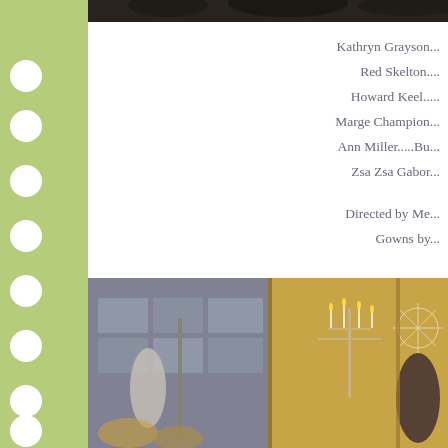[Figure (photo): Top portion of a dark scene photo, partially visible at top of page]
Cas...
Kathryn Grayson...
Red Skelton....
Howard Keel.....
Marge Champion...
Ann Miller.....Bu...
Zsa Zsa Gabor...
Directed by Me...
Gowns by...
[Figure (photo): Bottom photo showing ornate interior scene with candelabra and decorative elements, split into two panels]